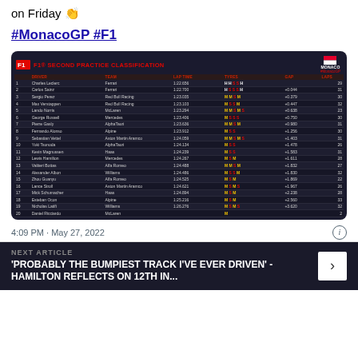on Friday 👏
#MonacoGP #F1
[Figure (screenshot): F1 Second Practice Classification table for Monaco GP showing top 20 drivers with lap times, tyre compounds, gaps and laps completed]
4:09 PM · May 27, 2022
NEXT ARTICLE
'PROBABLY THE BUMPIEST TRACK I'VE EVER DRIVEN' - HAMILTON REFLECTS ON 12TH IN...